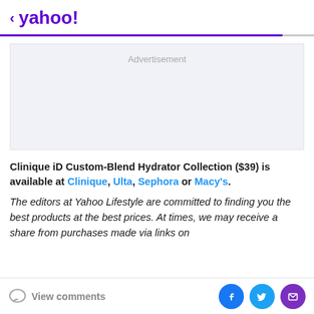< yahoo!
[Figure (other): Advertisement placeholder box with light gray background]
Clinique iD Custom-Blend Hydrator Collection ($39) is available at Clinique, Ulta, Sephora or Macy's.
The editors at Yahoo Lifestyle are committed to finding you the best products at the best prices. At times, we may receive a share from purchases made via links on
View comments  [Facebook] [Twitter] [Mail]